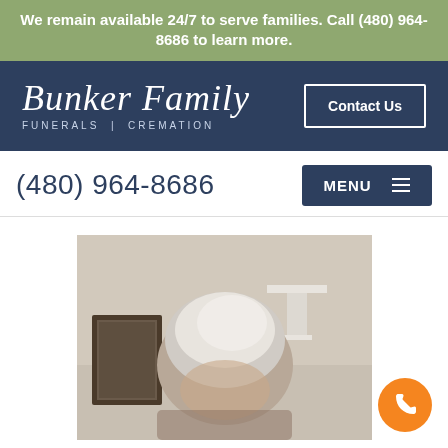We remain available 24/7 to serve families. Call (480) 964-8686 to learn more.
[Figure (logo): Bunker Family Funerals | Cremation logo in white script on navy background with Contact Us button]
(480) 964-8686
MENU
[Figure (photo): Photo of an elderly person with white/grey hair, indoors with a framed picture on the wall in the background]